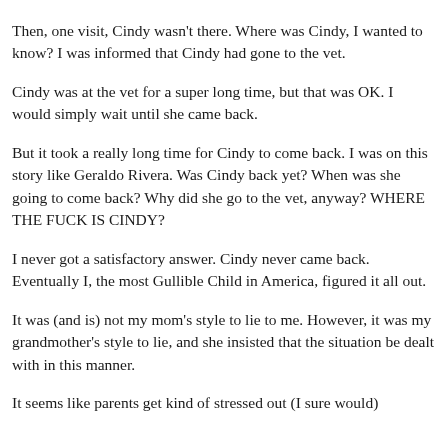Then, one visit, Cindy wasn't there. Where was Cindy, I wanted to know? I was informed that Cindy had gone to the vet.
Cindy was at the vet for a super long time, but that was OK. I would simply wait until she came back.
But it took a really long time for Cindy to come back. I was on this story like Geraldo Rivera. Was Cindy back yet? When was she going to come back? Why did she go to the vet, anyway? WHERE THE FUCK IS CINDY?
I never got a satisfactory answer. Cindy never came back. Eventually I, the most Gullible Child in America, figured it all out.
It was (and is) not my mom's style to lie to me. However, it was my grandmother's style to lie, and she insisted that the situation be dealt with in this manner.
It seems like parents get kind of stressed out (I sure would)